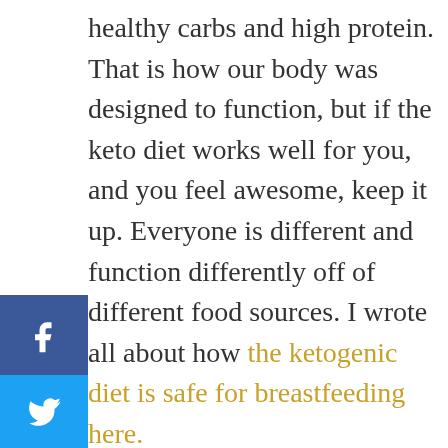healthy carbs and high protein. That is how our body was designed to function, but if the keto diet works well for you, and you feel awesome, keep it up. Everyone is different and function differently off of different food sources. I wrote all about how the ketogenic diet is safe for breastfeeding here.